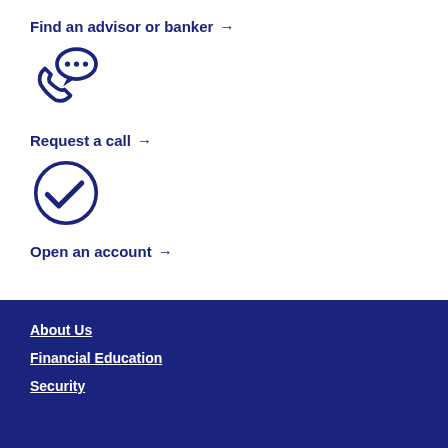Find an advisor or banker →
[Figure (illustration): Phone with speech bubble icon (call/chat icon) in dark navy blue outline style]
Request a call →
[Figure (illustration): Checkmark inside a circle icon in dark navy blue outline style]
Open an account →
About Us
Financial Education
Security